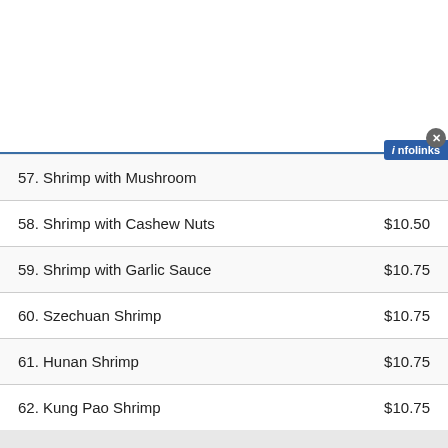[Figure (screenshot): Infolinks advertisement banner at top of page]
57. Shrimp with Mushroom   $10.50
58. Shrimp with Cashew Nuts   $10.50
59. Shrimp with Garlic Sauce   $10.75
60. Szechuan Shrimp   $10.75
61. Hunan Shrimp   $10.75
62. Kung Pao Shrimp   $10.75
Beef
With white rice or pork fried rice
[Figure (screenshot): Infolinks advertisement banner at bottom of page]